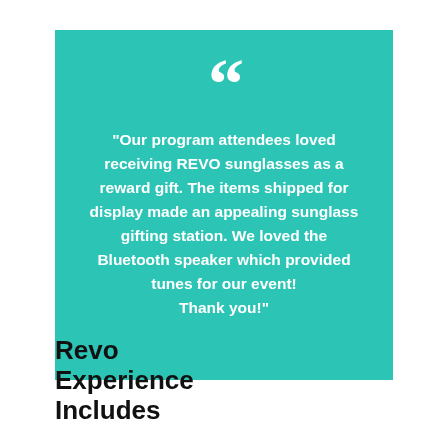"Our program attendees loved receiving REVO sunglasses as a reward gift. The items shipped for display made an appealing sunglass gifting station. We loved the Bluetooth speaker which provided tunes for our event! Thank you!"
Revo Experience Includes